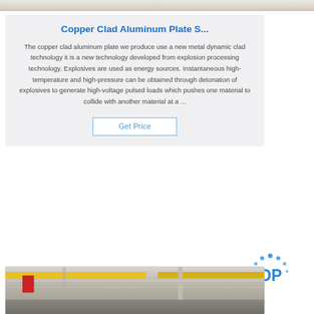[Figure (photo): Top portion of an industrial/manufacturing image, partially cropped at top of page]
Copper Clad Aluminum Plate S...
The copper clad aluminum plate we produce use a new metal dynamic clad technology it is a new technology developed from explosion processing technology. Explosives are used as energy sources. Instantaneous high-temperature and high-pressure can be obtained through detonation of explosives to generate high-voltage pulsed loads which pushes one material to collide with another material at a ...
Get Price
[Figure (photo): Interior of an industrial factory or warehouse with yellow overhead crane structures visible]